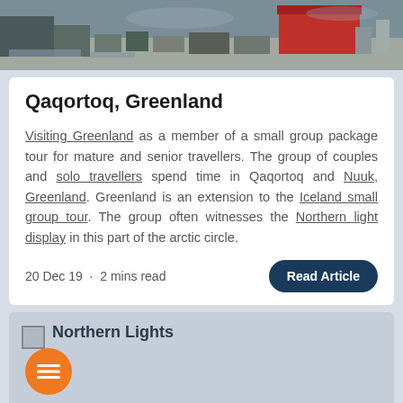[Figure (photo): Aerial or harbor view of Qaqortoq, Greenland, showing buildings, boats, and a red warehouse structure]
Qaqortoq, Greenland
Visiting Greenland as a member of a small group package tour for mature and senior travellers. The group of couples and solo travellers spend time in Qaqortoq and Nuuk, Greenland. Greenland is an extension to the Iceland small group tour. The group often witnesses the Northern light display in this part of the arctic circle.
20 Dec 19  ·  2 mins read
[Figure (photo): Northern Lights image placeholder]
Northern Lights